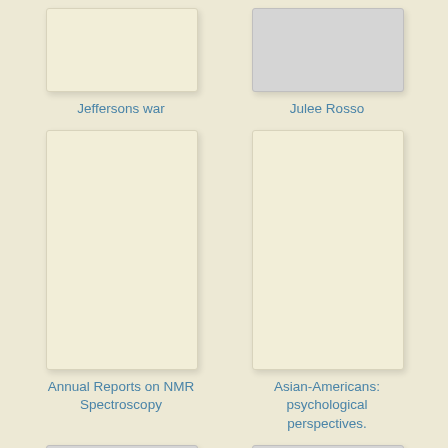[Figure (illustration): Partial book cover for 'Jeffersons war', cream/beige colored]
Jeffersons war
[Figure (illustration): Partial book cover for 'Julee Rosso', gray colored]
Julee Rosso
[Figure (illustration): Full book cover for 'Annual Reports on NMR Spectroscopy', cream/beige colored]
Annual Reports on NMR Spectroscopy
[Figure (illustration): Full book cover for 'Asian-Americans: psychological perspectives.', cream/beige colored]
Asian-Americans: psychological perspectives.
[Figure (illustration): Partial book cover with text 'sense of pattern', gray colored]
[Figure (illustration): Partial book cover with text 'Office communication system design', gray colored]